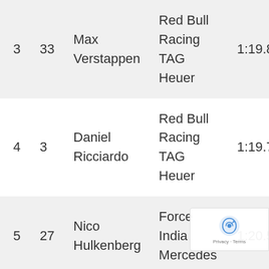| Pos | No | Driver | Team | Q1 | Q2 |
| --- | --- | --- | --- | --- | --- |
| 3 | 33 | Max Verstappen | Red Bull Racing TAG Heuer | 1:19.874 | 1:18.97 |
| 4 | 3 | Daniel Ricciardo | Red Bull Racing TAG Heuer | 1:19.713 | 1:19.55 |
| 5 | 27 | Nico Hulkenberg | Force India Mercedes | 1:20.599 | 1:19.76 |
| 6 | 7 | Kimi Räikkönen | Ferrari | 1:19.554 | 1:19.97 |